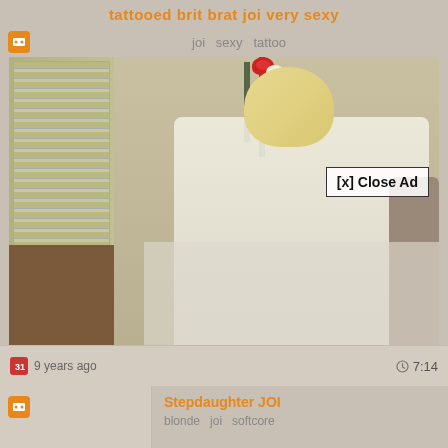tattooed brit brat joi very sexy
joi  sexy  tattoo
[Figure (screenshot): Video player showing a blonde woman in a white top seated in a room with blinds and a rose vase. A semi-transparent ad overlay appears in the lower center, with a '[x] Close Ad' button at upper right of overlay.]
9 years ago
7:14
Stepdaughter JOI
blonde  joi  softcore